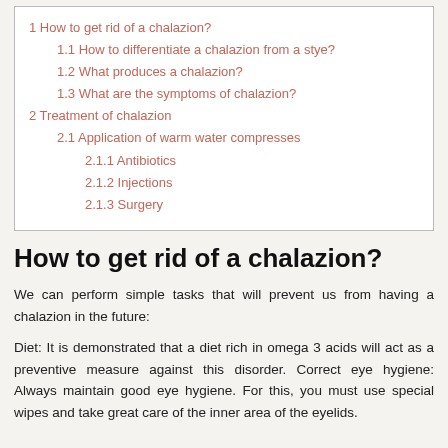1 How to get rid of a chalazion?
1.1 How to differentiate a chalazion from a stye?
1.2 What produces a chalazion?
1.3 What are the symptoms of chalazion?
2 Treatment of chalazion
2.1 Application of warm water compresses
2.1.1 Antibiotics
2.1.2 Injections
2.1.3 Surgery
How to get rid of a chalazion?
We can perform simple tasks that will prevent us from having a chalazion in the future:
Diet: It is demonstrated that a diet rich in omega 3 acids will act as a preventive measure against this disorder. Correct eye hygiene: Always maintain good eye hygiene. For this, you must use special wipes and take great care of the inner area of the eyelids.